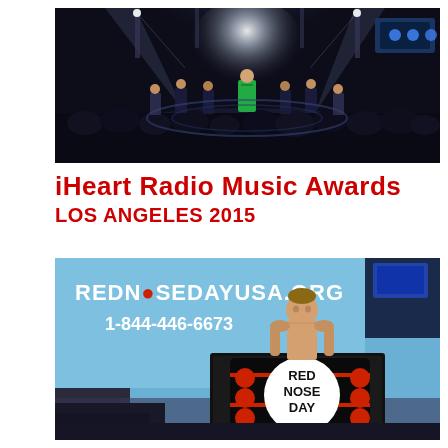[Figure (photo): Concert stage performance at iHeart Radio Music Awards. Artist in green suit performing center stage with dancers, dramatic lighting including blue/white stage lights, large crowd in the foreground.]
iHeart Radio Music Awards
LOS ANGELES 2015
[Figure (photo): Person at a Red Nose Day podium/lectern at the iHeart Radio Music Awards. Background screen shows REDNOSEDAYUSA.ORG and 1-844-446-6673. The podium displays RED NOSE DAY branding with red circles on a black and red design.]